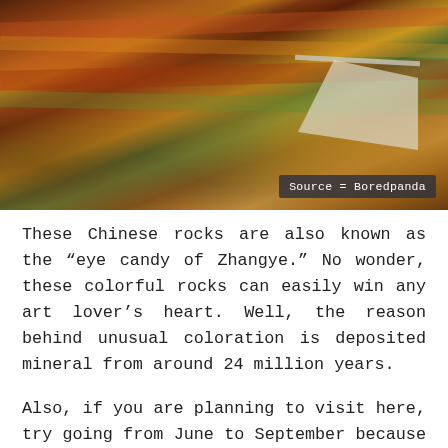[Figure (photo): Colorful Chinese Zhangye Danxia rock formations with vibrant red, orange, yellow, and green striped hills. A walkway/viewing platform is visible in the upper right with visitors. Source label reads 'Source = Boredpanda'.]
These Chinese rocks are also known as the "eye candy of Zhangye." No wonder, these colorful rocks can easily win any art lover's heart. Well, the reason behind unusual coloration is deposited mineral from around 24 million years.
Also, if you are planning to visit here, try going from June to September because at that time the combination of sunlight and a little rain brings out the colors more and also the weather is comfortable. Moreover, prefer going in the morning and at dusk especially at sunset. And, at